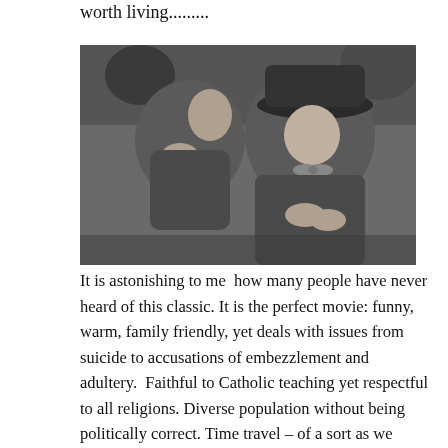worth living.........
[Figure (photo): Black and white photograph of two men in coats and hats, one whispering to the other who wears a wide-brimmed hat and bow tie.]
It is astonishing to me  how many people have never heard of this classic. It is the perfect movie: funny, warm, family friendly, yet deals with issues from suicide to accusations of embezzlement and adultery.  Faithful to Catholic teaching yet respectful to all religions. Diverse population without being politically correct. Time travel – of a sort as we review a man's life. LARGE ensemble cast but every one three dimensional, each given at least one